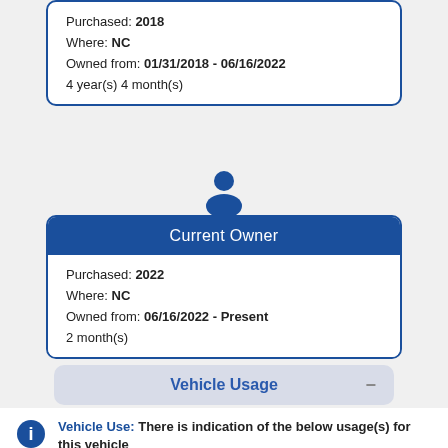Purchased: 2018
Where: NC
Owned from: 01/31/2018 - 06/16/2022
4 year(s) 4 month(s)
[Figure (illustration): Person/user silhouette icon in blue]
Current Owner
Purchased: 2022
Where: NC
Owned from: 06/16/2022 - Present
2 month(s)
Vehicle Usage
Vehicle Use: There is indication of the below usage(s) for this vehicle